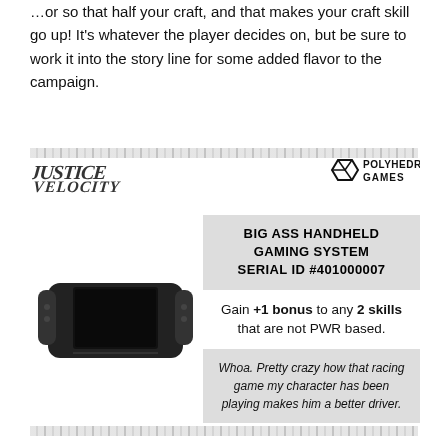…or so that half your craft, and that makes your craft skill go up! It's whatever the player decides on, but be sure to work it into the story line for some added flavor to the campaign.
[Figure (logo): Justice Velocity logo (grunge/brush lettering style)]
[Figure (logo): Polyhedra Games logo (cube icon with text)]
[Figure (other): Tire track decorative divider bar]
BIG ASS HANDHELD GAMING SYSTEM SERIAL ID #401000007
[Figure (photo): Photo of a handheld gaming system (similar to Nintendo Switch) with dark screen and grip controls on each side]
Gain +1 bonus to any 2 skills that are not PWR based.
Whoa. Pretty crazy how that racing game my character has been playing makes him a better driver.
[Figure (other): Tire track decorative divider bar at bottom]